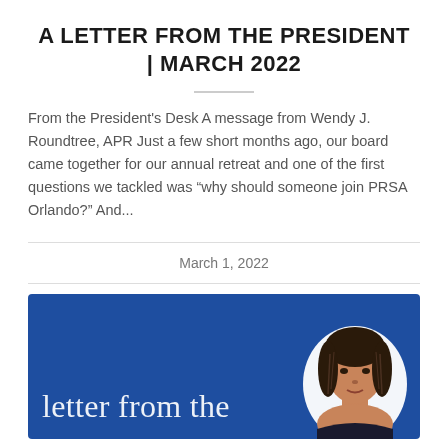A LETTER FROM THE PRESIDENT | MARCH 2022
From the President's Desk A message from Wendy J. Roundtree, APR Just a few short months ago, our board came together for our annual retreat and one of the first questions we tackled was “why should someone join PRSA Orlando?” And...
March 1, 2022
[Figure (photo): A blue banner image with cursive text reading 'letter from the' and a portrait of a woman with braided hair on the right side.]